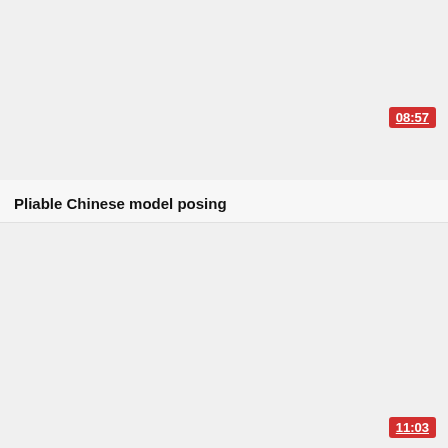[Figure (screenshot): Video thumbnail placeholder (light gray background) with a red duration badge showing 08:57 in the bottom-right area]
Pliable Chinese model posing
[Figure (screenshot): Video thumbnail placeholder (light gray background) with a red duration badge showing 11:03 in the bottom-right area]